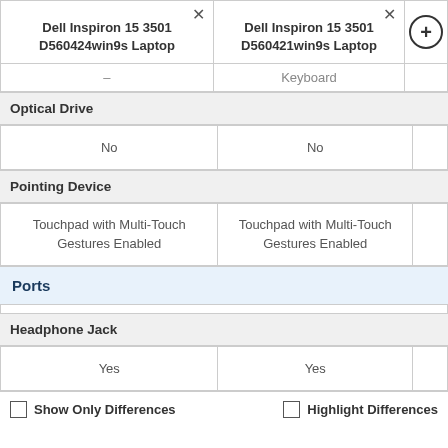| Dell Inspiron 15 3501 D560424win9s Laptop | Dell Inspiron 15 3501 D560421win9s Laptop | + |
| --- | --- | --- |
| – | Keyboard |
| Optical Drive |  |
| No | No |
| Pointing Device |  |
| Touchpad with Multi-Touch Gestures Enabled | Touchpad with Multi-Touch Gestures Enabled |
| Ports |  |
| Headphone Jack |  |
| Yes | Yes |
Show Only Differences
Highlight Differences